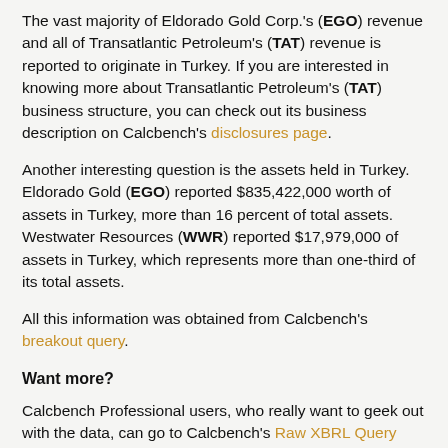The vast majority of Eldorado Gold Corp.'s (EGO) revenue and all of Transatlantic Petroleum's (TAT) revenue is reported to originate in Turkey. If you are interested in knowing more about Transatlantic Petroleum's (TAT) business structure, you can check out its business description on Calcbench's disclosures page.
Another interesting question is the assets held in Turkey. Eldorado Gold (EGO) reported $835,422,000 worth of assets in Turkey, more than 16 percent of total assets. Westwater Resources (WWR) reported $17,979,000 of assets in Turkey, which represents more than one-third of its total assets.
All this information was obtained from Calcbench's breakout query.
Want more?
Calcbench Professional users, who really want to geek out with the data, can go to Calcbench's Raw XBRL Query and search for XBRL dimension members that include "Turkey", yielding companies that report information relating to business in Turkey. This would include companies like Banco Bilbao Vizcaya Argentaria S.A. (BBVA), Chemical & Mining Co. of Chile Inc.